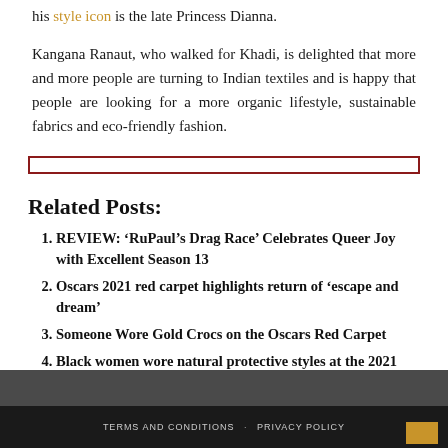his style icon is the late Princess Dianna.
Kangana Ranaut, who walked for Khadi, is delighted that more and more people are turning to Indian textiles and is happy that people are looking for a more organic lifestyle, sustainable fabrics and eco-friendly fashion.
[Figure (other): Dark red horizontal divider rectangle]
Related Posts:
REVIEW: ‘RuPaul’s Drag Race’ Celebrates Queer Joy with Excellent Season 13
Oscars 2021 red carpet highlights return of ‘escape and dream’
Someone Wore Gold Crocs on the Oscars Red Carpet
Black women wore natural protective styles at the 2021 Oscars
TERMS AND CONDITIONS   PRIVACY POLICY